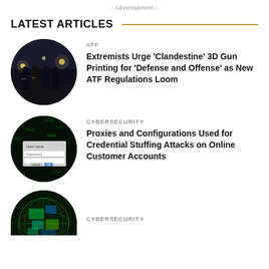- Advertisement -
LATEST ARTICLES
[Figure (photo): Circular photo of law enforcement agents in dark jackets at night with lights in background]
ATF
Extremists Urge ‘Clandestine’ 3D Gun Printing for ‘Defense and Offense’ as New ATF Regulations Loom
[Figure (photo): Circular photo showing a login form with User name and Password fields overlaid on green matrix-style background]
CYBERSECURITY
Proxies and Configurations Used for Credential Stuffing Attacks on Online Customer Accounts
[Figure (photo): Circular photo partially visible showing green digital globe or network visualization]
CYBERSECURITY